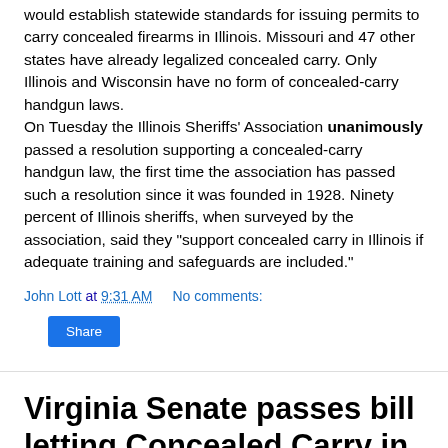would establish statewide standards for issuing permits to carry concealed firearms in Illinois. Missouri and 47 other states have already legalized concealed carry. Only Illinois and Wisconsin have no form of concealed-carry handgun laws.
On Tuesday the Illinois Sheriffs' Association unanimously passed a resolution supporting a concealed-carry handgun law, the first time the association has passed such a resolution since it was founded in 1928. Ninety percent of Illinois sheriffs, when surveyed by the association, said they "support concealed carry in Illinois if adequate training and safeguards are included."
John Lott at 9:31 AM    No comments:
Share
Virginia Senate passes bill letting Concealed Carry in Restaurants